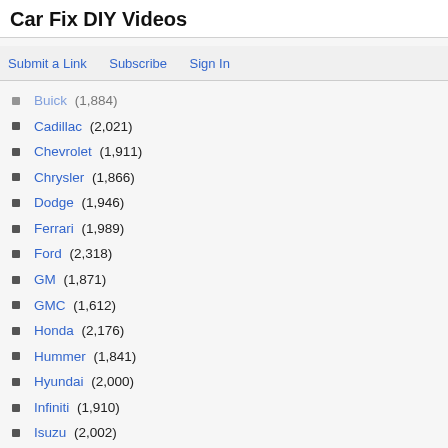Car Fix DIY Videos
Submit a Link   Subscribe   Sign In
Buick (1,884)
Cadillac (2,021)
Chevrolet (1,911)
Chrysler (1,866)
Dodge (1,946)
Ferrari (1,989)
Ford (2,318)
GM (1,871)
GMC (1,612)
Honda (2,176)
Hummer (1,841)
Hyundai (2,000)
Infiniti (1,910)
Isuzu (2,002)
Jaguar (1,925)
Jeep (1,911)
Kia (1,002)